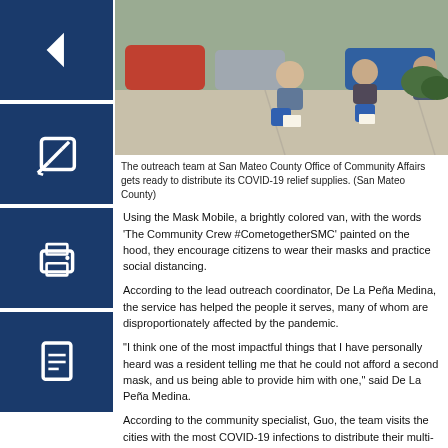[Figure (photo): Outreach team members sitting on a sidewalk with bags and papers, wearing face masks, with vehicles in the background.]
The outreach team at San Mateo County Office of Community Affairs gets ready to distribute its COVID-19 relief supplies. (San Mateo County)
Using the Mask Mobile, a brightly colored van, with the words ‘The Community Crew #CometogetherSMC’ painted on the hood, they encourage citizens to wear their masks and practice social distancing.
According to the lead outreach coordinator, De La Peña Medina, the service has helped the people it serves, many of whom are disproportionately affected by the pandemic.
“I think one of the most impactful things that I have personally heard was a resident telling me that he could not afford a second mask, and us being able to provide him with one,” said De La Peña Medina.
According to the community specialist, Guo, the team visits the cities with the most COVID-19 infections to distribute their multi-lingual packages because these areas are usually very diverse, both linguistically